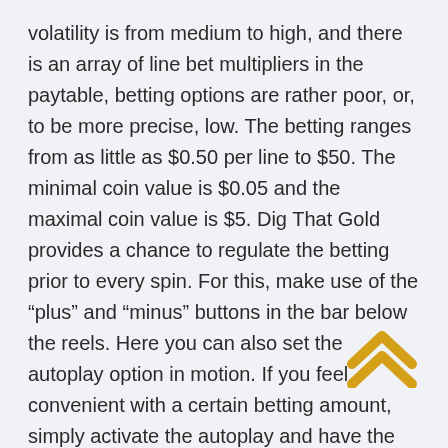volatility is from medium to high, and there is an array of line bet multipliers in the paytable, betting options are rather poor, or, to be more precise, low. The betting ranges from as little as $0.50 per line to $50. The minimal coin value is $0.05 and the maximal coin value is $5. Dig That Gold provides a chance to regulate the betting prior to every spin. For this, make use of the “plus” and “minus” buttons in the bar below the reels. Here you can also set the autoplay option in motion. If you feel convenient with a certain betting amount, simply activate the autoplay and have the reels spun on their own as many times as you wish. Dig That Gold allows choosing from one to six preset spin values.
[Figure (illustration): Gold/orange double chevron up arrow icon]
The most impressive line bet multiplier in the paytable of Dig That Gold is 5,000 — the best. The bett...